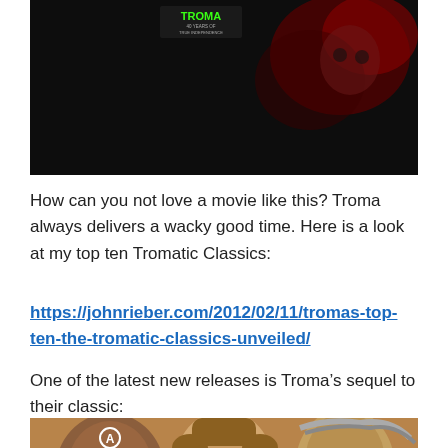[Figure (photo): Movie promotional image for 'Pro-Wrestlers vs. Zombies' on a black background with red horror imagery and a Troma logo, with the title text in bright green.]
How can you not love a movie like this? Troma always delivers a wacky good time. Here is a look at my top ten Tromatic Classics:
https://johnrieber.com/2012/02/11/tromas-top-ten-the-tromatic-classics-unveiled/
One of the latest new releases is Troma’s sequel to their classic:
[Figure (photo): Horror movie poster art showing multiple frightened and monstrous faces — zombie/horror characters including a figure with an anarchy symbol on forehead, a screaming man, and a zombie woman.]